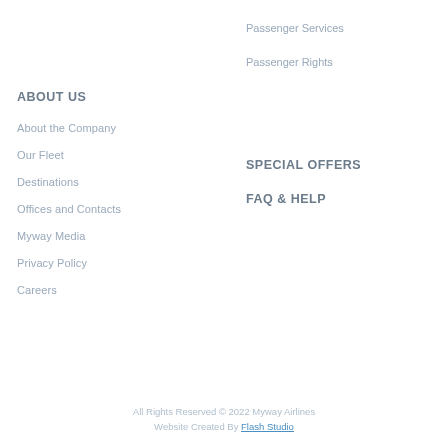Passenger Services
Passenger Rights
ABOUT US
About the Company
Our Fleet
Destinations
Offices and Contacts
Myway Media
Privacy Policy
Careers
SPECIAL OFFERS
FAQ & HELP
All Rights Reserved © 2022 Myway Airlines
Website Created By Flash Studio